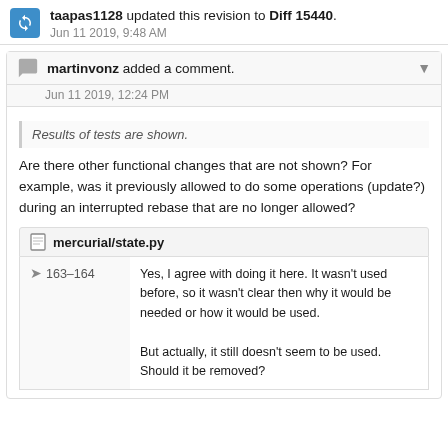taapas1128 updated this revision to Diff 15440. Jun 11 2019, 9:48 AM
martinvonz added a comment. Jun 11 2019, 12:24 PM
Results of tests are shown.
Are there other functional changes that are not shown? For example, was it previously allowed to do some operations (update?) during an interrupted rebase that are no longer allowed?
mercurial/state.py
163–164
Yes, I agree with doing it here. It wasn't used before, so it wasn't clear then why it would be needed or how it would be used.

But actually, it still doesn't seem to be used. Should it be removed?